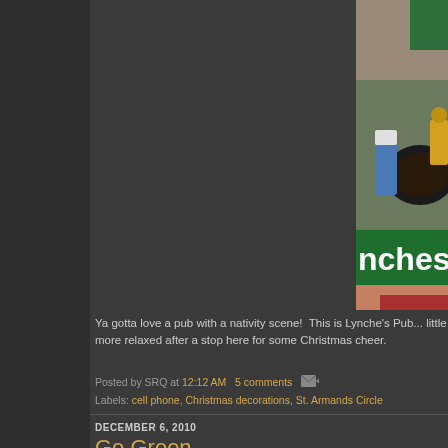[Figure (photo): Close-up photo of Christmas decorations at Lynche's Pub at St. Armands Circle, showing a nativity scene with a green sign reading 'nches p' (Lynches Pub partially visible), holiday figurines, and a wreath]
Ya gotta love a pub with a nativity scene! This is Lynche's Pub... little more relaxed after a stop here for some Christmas cheer.
Posted by SRQ at 12:12 AM  5 comments
Labels: cell phone, Christmas decorations, St. Armands Circle
DECEMBER 6, 2010
Go Green